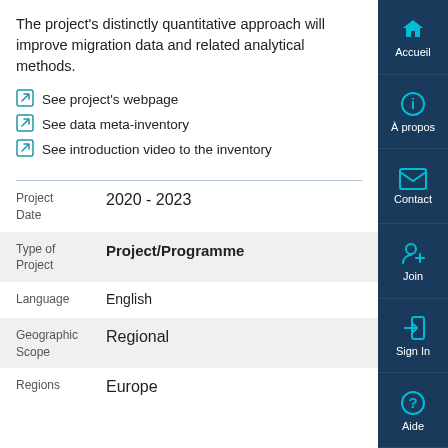The project's distinctly quantitative approach will improve migration data and related analytical methods.
See project's webpage
See data meta-inventory
See introduction video to the inventory
| Field | Value |
| --- | --- |
| Project Date | 2020 - 2023 |
| Type of Project | Project/Programme |
| Language | English |
| Geographic Scope | Regional |
| Regions | Europe |